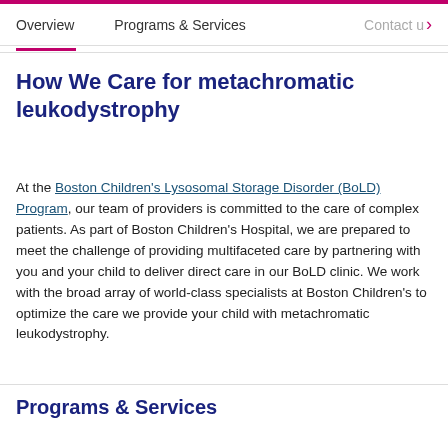Overview    Programs & Services    Contact u
How We Care for metachromatic leukodystrophy
At the Boston Children's Lysosomal Storage Disorder (BoLD) Program, our team of providers is committed to the care of complex patients. As part of Boston Children's Hospital, we are prepared to meet the challenge of providing multifaceted care by partnering with you and your child to deliver direct care in our BoLD clinic. We work with the broad array of world-class specialists at Boston Children's to optimize the care we provide your child with metachromatic leukodystrophy.
Programs & Services